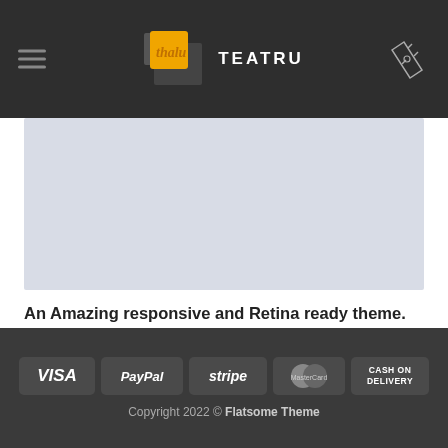TEATRU — navigation header with logo and hamburger menu
[Figure (photo): Light blue-grey hero/banner image placeholder area]
An Amazing responsive and Retina ready theme.
Lorem ipsum dolor sit amet, consectetur adipiscing elit. Nam sed eleifend risus, sit amet porttitor [...]
Payment icons: VISA, PayPal, stripe, MasterCard, CASH ON DELIVERY. Copyright 2022 © Flatsome Theme